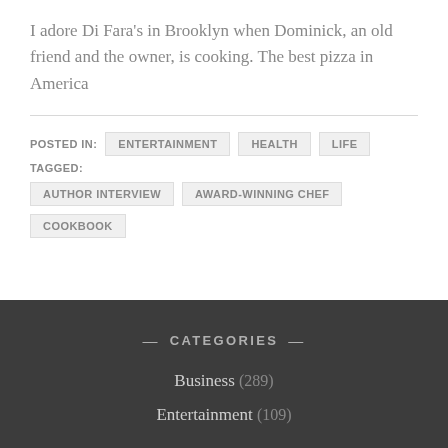I adore Di Fara's in Brooklyn when Dominick, an old friend and the owner, is cooking. The best pizza in America
POSTED IN: ENTERTAINMENT  HEALTH  LIFE  TAGGED: AUTHOR INTERVIEW  AWARD-WINNING CHEF  COOKBOOK
— CATEGORIES —
Business (289)
Entertainment (109)